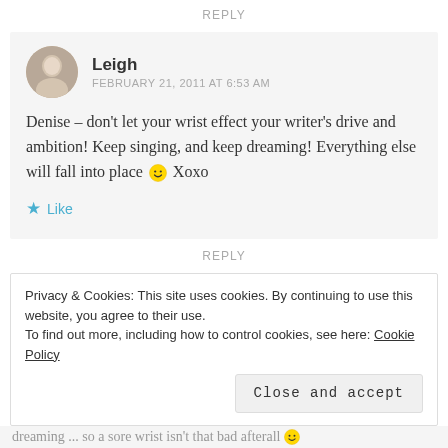REPLY
Leigh
FEBRUARY 21, 2011 AT 6:53 AM
Denise – don't let your wrist effect your writer's drive and ambition! Keep singing, and keep dreaming! Everything else will fall into place 🙂 Xoxo
Like
REPLY
Privacy & Cookies: This site uses cookies. By continuing to use this website, you agree to their use.
To find out more, including how to control cookies, see here: Cookie Policy
Close and accept
dreaming ... so a sore wrist isn't that bad afterall 🙂